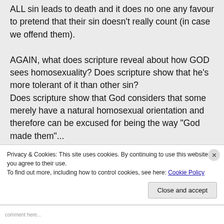ALL sin leads to death and it does no one any favour to pretend that their sin doesn't really count (in case we offend them).

AGAIN, what does scripture reveal about how GOD sees homosexuality? Does scripture show that he's more tolerant of it than other sin?
Does scripture show that God considers that some merely have a natural homosexual orientation and therefore can be excused for being the way...
Privacy & Cookies: This site uses cookies. By continuing to use this website, you agree to their use.
To find out more, including how to control cookies, see here: Cookie Policy